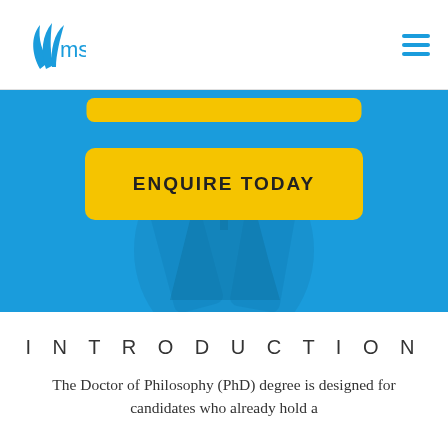[Figure (logo): MST logo: blue leaf/feather icon with 'mst' text in blue beside it]
[Figure (illustration): Hamburger menu icon (three horizontal blue lines) in top right corner]
[Figure (photo): Blue hero banner section with graduation-themed background imagery and two yellow call-to-action buttons. The top button is partially visible. The main button reads ENQUIRE TODAY in bold uppercase.]
INTRODUCTION
The Doctor of Philosophy (PhD) degree is designed for candidates who already hold a